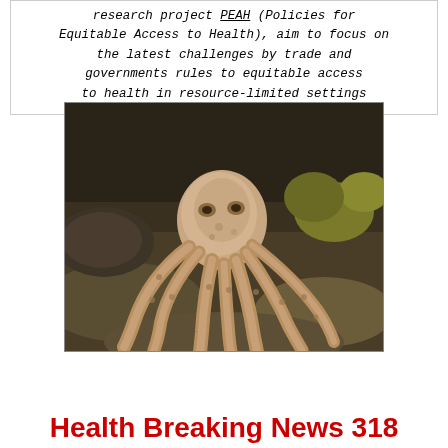research project PEAH (Policies for Equitable Access to Health), aim to focus on the latest challenges by trade and governments rules to equitable access to health in resource-limited settings
[Figure (photo): Photograph of an octopus resting on a sandy/rocky seafloor, viewed from above, showing tentacles spread outward.]
Health Breaking News 318